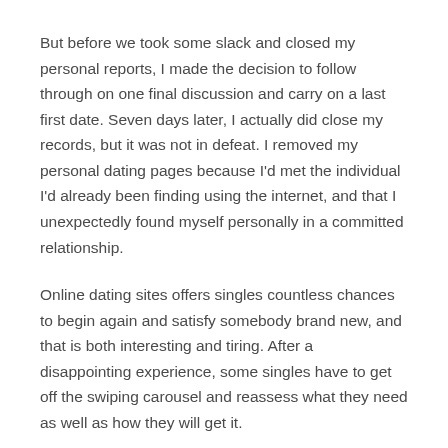But before we took some slack and closed my personal reports, I made the decision to follow through on one final discussion and carry on a last first date. Seven days later, I actually did close my records, but it was not in defeat. I removed my personal dating pages because I'd met the individual I'd already been finding using the internet, and that I unexpectedly found myself personally in a committed relationship.
Online dating sites offers singles countless chances to begin again and satisfy somebody brand new, and that is both interesting and tiring. After a disappointing experience, some singles have to get off the swiping carousel and reassess what they need as well as how they will get it.
Common online dating app an abundance of Fish unearthed that two-thirds of singles just take standard rests from online dating apps to handle by themselves and heal. The stress details learn of